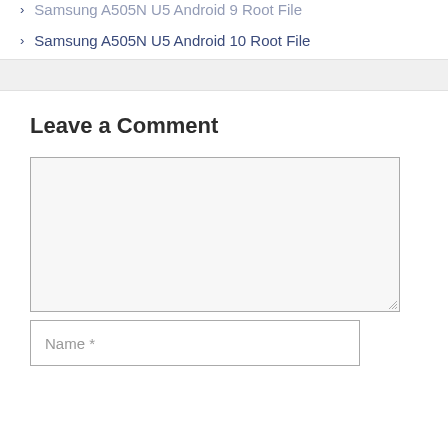Samsung A505N U5 Android 9 Root File
Samsung A505N U5 Android 10 Root File
Leave a Comment
[Figure (other): Empty comment textarea form field]
Name *